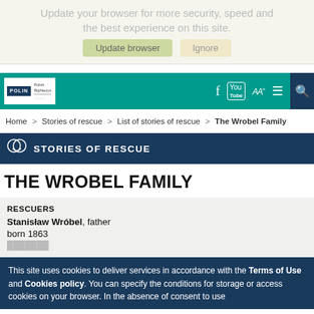Update your browser for more security, speed and the best experience on this site.
[Figure (screenshot): Browser update bar with 'Update browser' and 'Ignore' buttons]
[Figure (screenshot): POLIN Polish Righteous website navigation header with teal background, logo, Facebook, YouTube icons, AA text resize, hamburger menu and search]
Home > Stories of rescue > List of stories of rescue > The Wrobel Family
STORIES OF RESCUE
THE WROBEL FAMILY
RESCUERS
Stanisław Wróbel, father
born 1863
This site uses cookies to deliver services in accordance with the Terms of Use and Cookies policy. You can specify the conditions for storage or access cookies on your browser. In the absence of consent to use